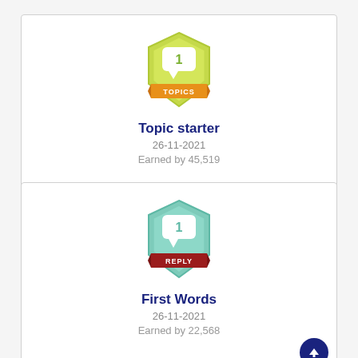[Figure (illustration): Badge icon for Topic starter: yellow-green hexagonal shield with a speech bubble showing the number 1, and an orange ribbon banner at the bottom with the word TOPICS]
Topic starter
26-11-2021
Earned by 45,519
[Figure (illustration): Badge icon for First Words: teal/mint hexagonal shield with a speech bubble showing the number 1, and a dark red ribbon banner at the bottom with the word REPLY]
First Words
26-11-2021
Earned by 22,568